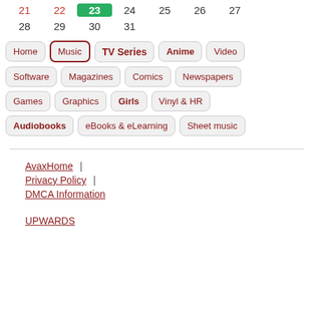21 22 23 24 25 26 27
28 29 30 31
Home | Music | TV Series | Anime | Video
Software | Magazines | Comics | Newspapers
Games | Graphics | Girls | Vinyl & HR
Audiobooks | eBooks & eLearning | Sheet music
AvaxHome | Privacy Policy | DMCA Information UPWARDS